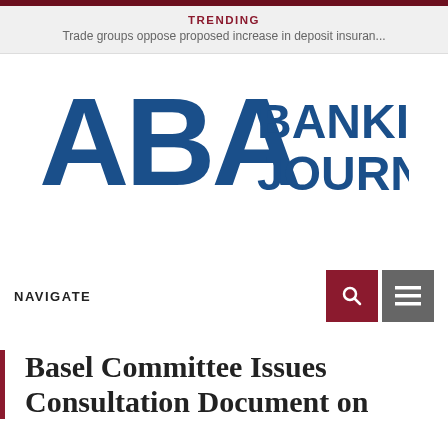TRENDING
Trade groups oppose proposed increase in deposit insuran...
[Figure (logo): ABA Banking Journal logo — large blue bold letters 'ABA' with 'BANKING JOURNAL' to the right, all in dark blue]
NAVIGATE
Basel Committee Issues Consultation Document on